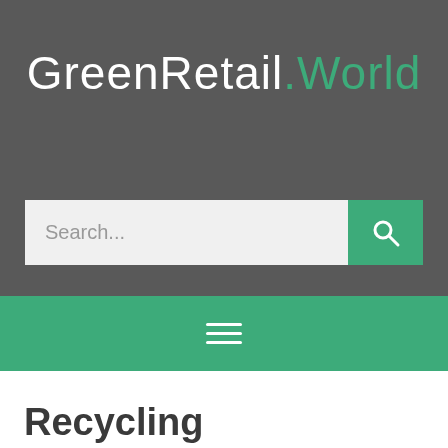[Figure (logo): GreenRetail.World logo with white text for 'GreenRetail' and green text for '.World' on dark grey background]
[Figure (screenshot): Search bar with grey input field showing placeholder text 'Search...' and a green search button with magnifying glass icon]
[Figure (screenshot): Green navigation bar with white hamburger menu icon (three horizontal lines)]
Recycling
News and features showing examples of recycling strategy in